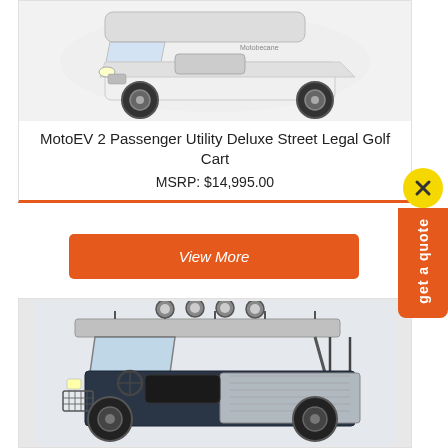[Figure (photo): MotoEV 2 Passenger Utility Deluxe Street Legal Golf Cart - white/light colored electric golf cart viewed from front-side angle]
MotoEV 2 Passenger Utility Deluxe Street Legal Golf Cart
MSRP: $14,995.00
View More
[Figure (photo): Dark colored utility electric vehicle/golf cart with roof rack, multiple spotlights on top, flatbed cargo area in back, heavy duty tires, viewed from front-side angle]
[Figure (other): Side CTA widget: yellow circle close button with X, orange vertical bar with 'get a quote' text rotated vertically]